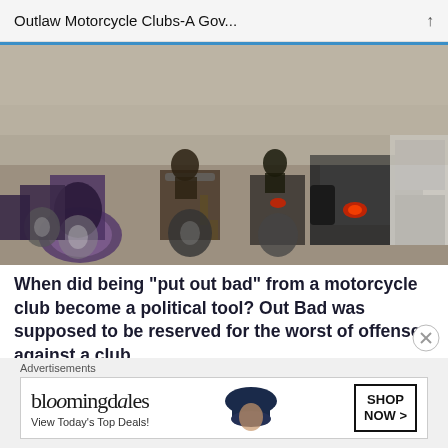Outlaw Motorcycle Clubs-A Gov...
[Figure (photo): A group of motorcycles and bikers riding on a road, viewed from behind and the side, with multiple large motorcycles visible, some with riders in dark clothing]
When did being “put out bad” from a motorcycle club become a political tool? Out Bad was supposed to be reserved for the worst of offenses against a club.
January 7, 2020
In "Biker News & Biker Lifestyle"
Advertisements
[Figure (screenshot): Bloomingdale's advertisement banner with logo text 'bloomingdales', tagline 'View Today’s Top Deals!', image of woman with large hat, and 'SHOP NOW >' button]